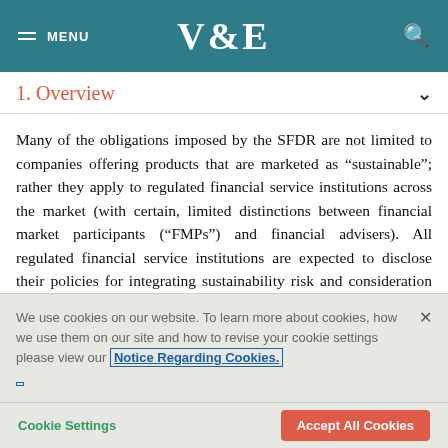MENU  V&E  [search]
1. Overview
Many of the obligations imposed by the SFDR are not limited to companies offering products that are marketed as “sustainable”; rather they apply to regulated financial service institutions across the market (with certain, limited distinctions between financial market participants (“FMPs”) and financial advisers). All regulated financial service institutions are expected to disclose their policies for integrating sustainability risk and consideration of principal adverse sustainability impacts into their decision-making/advice. However, FMPs are subject to further obligations, and the specific scope of these obligations differs between FMPs
We use cookies on our website. To learn more about cookies, how we use them on our site and how to revise your cookie settings please view our Notice Regarding Cookies.